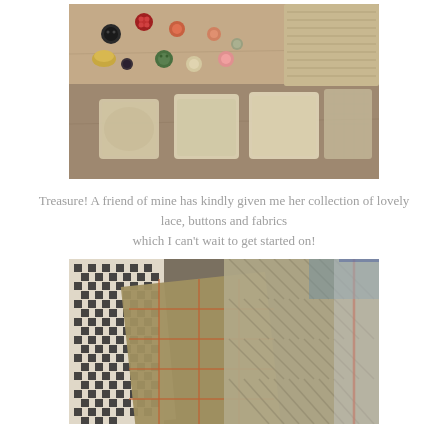[Figure (photo): A flat-lay photograph showing an assortment of vintage buttons in various colors (red, black, green, orange, cream), folded lace fabrics in beige/cream tones, and textile swatches laid out on a wooden surface.]
Treasure! A friend of mine has kindly given me her collection of lovely lace, buttons and fabrics which I can't wait to get started on!
[Figure (photo): A close-up photograph of several wool fabric swatches fanned out, showing different weave patterns including houndstooth check in black and white, and plaid/tweed patterns in muted brown, orange, green, and blue tones.]